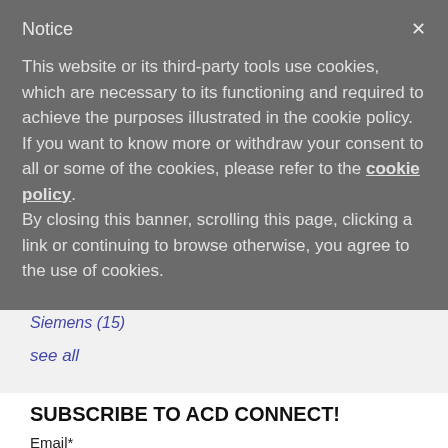Notice
This website or its third-party tools use cookies, which are necessary to its functioning and required to achieve the purposes illustrated in the cookie policy. If you want to know more or withdraw your consent to all or some of the cookies, please refer to the cookie policy.
By closing this banner, scrolling this page, clicking a link or continuing to browse otherwise, you agree to the use of cookies.
Siemens (15)
see all
SUBSCRIBE TO ACD CONNECT!
Email*